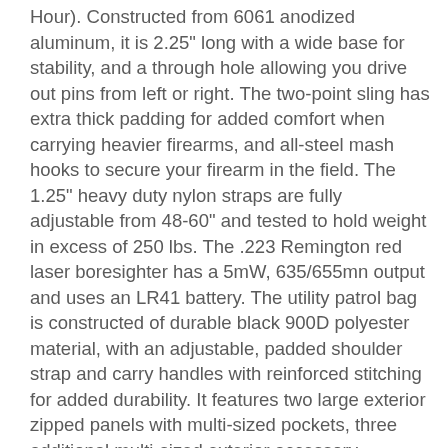Hour). Constructed from 6061 anodized aluminum, it is 2.25" long with a wide base for stability, and a through hole allowing you drive out pins from left or right. The two-point sling has extra thick padding for added comfort when carrying heavier firearms, and all-steel mash hooks to secure your firearm in the field. The 1.25" heavy duty nylon straps are fully adjustable from 48-60" and tested to hold weight in excess of 250 lbs. The .223 Remington red laser boresighter has a 5mW, 635/655mn output and uses an LR41 battery. The utility patrol bag is constructed of durable black 900D polyester material, with an adjustable, padded shoulder strap and carry handles with reinforced stitching for added durability. It features two large exterior zipped panels with multi-sized pockets, three additional multi-sized exterior accessory pouches, two water bottle/radio pouches, a flashlight loop, adjustable main